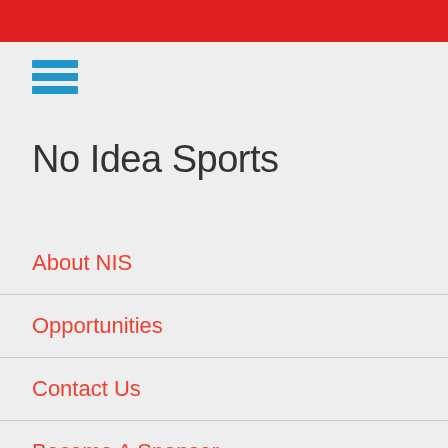[Figure (screenshot): Red header bar at top of mobile app screen]
[Figure (other): Hamburger menu icon with three horizontal blue bars]
No Idea Sports
About NIS
Opportunities
Contact Us
Become A Sponsor
FAQ
Gift Cards